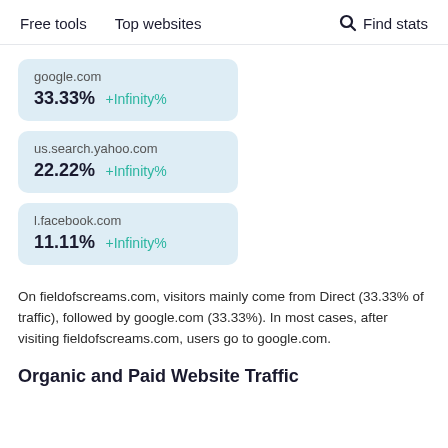Free tools   Top websites   Find stats
google.com   33.33% +Infinity%
us.search.yahoo.com   22.22% +Infinity%
l.facebook.com   11.11% +Infinity%
On fieldofscreams.com, visitors mainly come from Direct (33.33% of traffic), followed by google.com (33.33%). In most cases, after visiting fieldofscreams.com, users go to google.com.
Organic and Paid Website Traffic